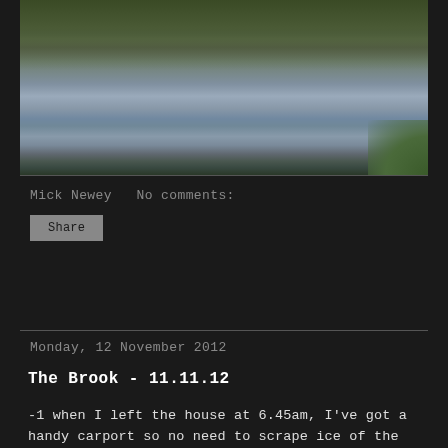[Figure (photo): Photograph of a brook or river channel with still dark water, surrounded by vegetation and grass banks, taken in overcast conditions.]
Mick Newey   No comments:
Share
Monday, 12 November 2012
The Brook - 11.11.12
-1 when I left the house at 6.45am, I've got a handy carport so no need to scrape ice of the car but the Wife still thinks I'm mad. I'm geared up for it though, Beany hat, Korum undersuit, ESP Hoody and neck warmer, I've also got some thick Sealskinz socks which work well in my